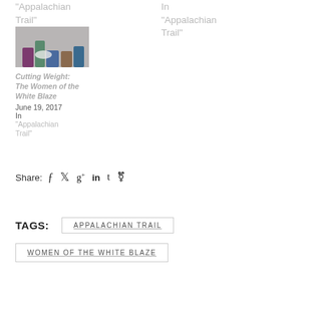"Appalachian Trail"
In "Appalachian Trail"
[Figure (photo): Photo of hikers' feet on pavement with trail gear]
Cutting Weight: The Women of the White Blaze
June 19, 2017
In "Appalachian Trail"
Share:
TAGS:
APPALACHIAN TRAIL
WOMEN OF THE WHITE BLAZE